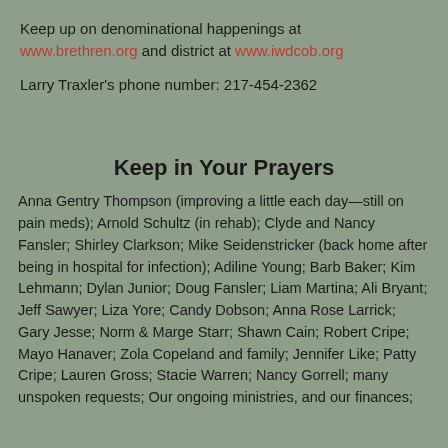Keep up on denominational happenings at www.brethren.org and district at www.iwdcob.org
Larry Traxler's phone number: 217-454-2362
Keep in Your Prayers
Anna Gentry Thompson (improving a little each day—still on pain meds); Arnold Schultz (in rehab); Clyde and Nancy Fansler; Shirley Clarkson; Mike Seidenstricker (back home after being in hospital for infection); Adiline Young; Barb Baker; Kim Lehmann; Dylan Junior; Doug Fansler; Liam Martina; Ali Bryant; Jeff Sawyer; Liza Yore; Candy Dobson; Anna Rose Larrick; Gary Jesse; Norm & Marge Starr; Shawn Cain; Robert Cripe; Mayo Hanaver; Zola Copeland and family; Jennifer Like; Patty Cripe; Lauren Gross; Stacie Warren; Nancy Gorrell; many unspoken requests; Our ongoing ministries, and our finances;